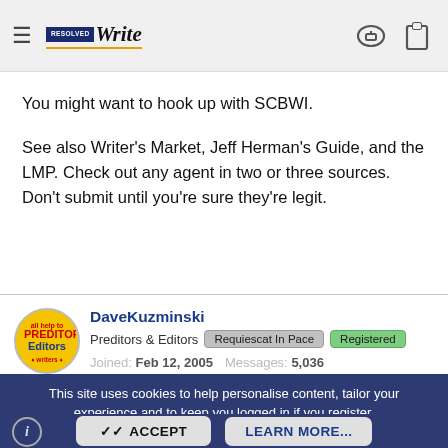Resolved Write — navigation bar with hamburger menu, logo, key icon, clipboard icon
You might want to hook up with SCBWI.
See also Writer's Market, Jeff Herman's Guide, and the LMP. Check out any agent in two or three sources. Don't submit until you're sure they're legit.
DaveKuzminski
Preditors & Editors  Requiescat In Pace  Registered
Joined: Feb 12, 2005  Messages: 5,036
Reaction score: 859  Location: Virginia
This site uses cookies to help personalise content, tailor your experience and to keep you logged in if you register.
By continuing to use this site, you are consenting to our use of cookies.
ACCEPT    LEARN MORE...